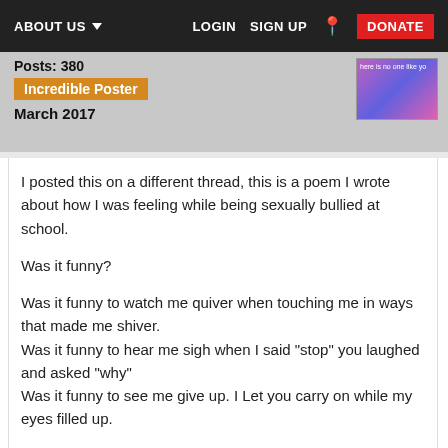ABOUT US  LOGIN  SIGN UP  DONATE
Posts: 380
Incredible Poster
March 2017
I posted this on a different thread, this is a poem I wrote about how I was feeling while being sexually bullied at school.

Was it funny?

Was it funny to watch me quiver when touching me in ways that made me shiver.
Was it funny to hear me sigh when I said "stop" you laughed and asked "why"
Was it funny to see me give up. I Let you carry on while my eyes filled up.

Was it funny when I lied?
if a teacher asked "what's wrong" I told them I was fine.

Was it funny to see me low but I hid my feelings so no one would know